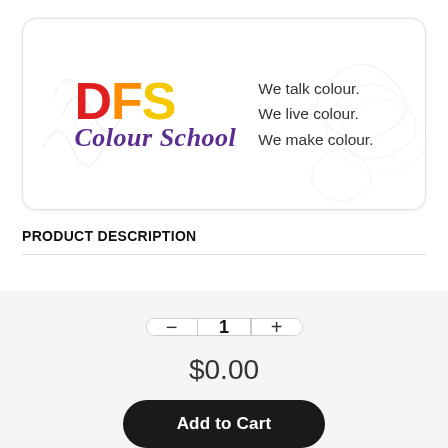[Figure (logo): DFS Colour School logo with tagline: We talk colour. We live colour. We make colour.]
PRODUCT DESCRIPTION
1
$0.00
Add to Cart